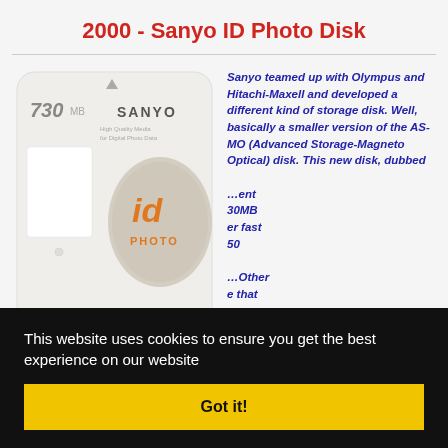2000 - Sanyo ID Photo Disk
[Figure (photo): Sanyo ID Photo Disk storage media card showing '730 MB' and 'SANYO' branding with orange 'id PHOTO' logo on a gray disc]
Sanyo teamed up with Olympus and Hitachi-Maxell and developed a different kind of storage disk. Well, basically a smaller version of the AS-MO (Advanced Storage-Magneto Optical) disk. This new disk, dubbed [partially visible text] ent 30MB er fast 50 Other e that en one isk ought to have a life
This website uses cookies to ensure you get the best experience on our website
Got it!